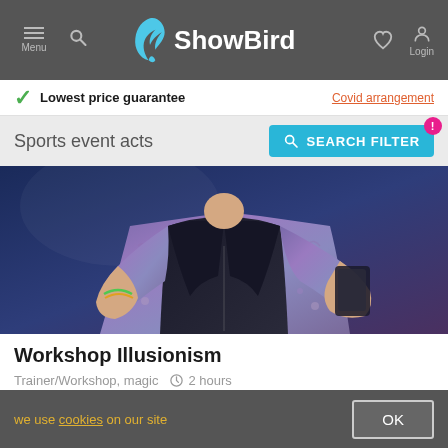ShowBird — Menu, Search, Login navigation bar
Lowest price guarantee   Covid arrangement
Sports event acts
[Figure (screenshot): A person wearing a floral patterned shirt and black vest, holding a card, photographed against a dark blue background — promotional image for Workshop Illusionism]
Workshop Illusionism
Trainer/Workshop, magic   2 hours
★★★★★  € 750,-
we use cookies on our site   OK   1 2 3 ... 27